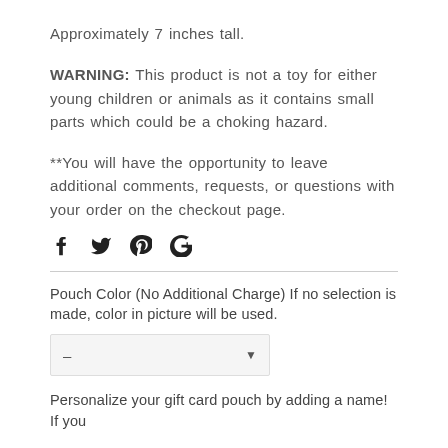Approximately 7 inches tall.
WARNING: This product is not a toy for either young children or animals as it contains small parts which could be a choking hazard.
**You will have the opportunity to leave additional comments, requests, or questions with your order on the checkout page.
[Figure (other): Social media share icons: Facebook (f), Twitter (bird), Pinterest (P), Google+ (G+)]
Pouch Color (No Additional Charge) If no selection is made, color in picture will be used.
[Figure (other): Dropdown selector showing a dash and a downward arrow, with light gray background]
Personalize your gift card pouch by adding a name! If you